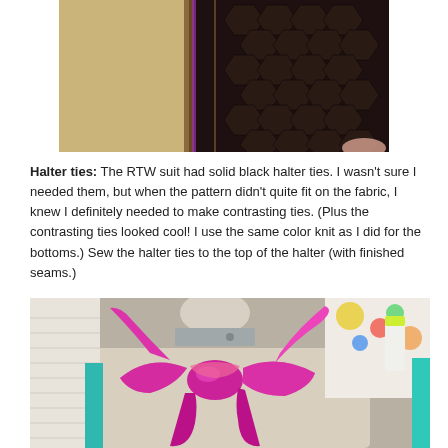[Figure (photo): Close-up photo of tan/beige fabric next to dark brown hexagonal-patterned material, with a finger visible at the right edge]
Halter ties: The RTW suit had solid black halter ties. I wasn't sure I needed them, but when the pattern didn't quite fit on the fabric, I knew I definitely needed to make contrasting ties. (Plus the contrasting ties looked cool! I use the same color knit as I did for the bottoms.) Sew the halter ties to the top of the halter (with finished seams.)
[Figure (photo): Photo of a dress form/mannequin torso with a bright pink/magenta fabric halter tie tied in a bow, with colorful fabric and a white lamp visible in the background]